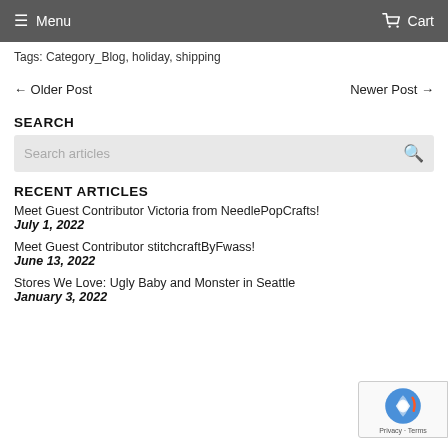≡ Menu  Cart
Tags: Category_Blog, holiday, shipping
← Older Post    Newer Post →
SEARCH
Search articles
RECENT ARTICLES
Meet Guest Contributor Victoria from NeedlePopCrafts!
July 1, 2022
Meet Guest Contributor stitchcraftByFwass!
June 13, 2022
Stores We Love: Ugly Baby and Monster in Seattle
January 3, 2022